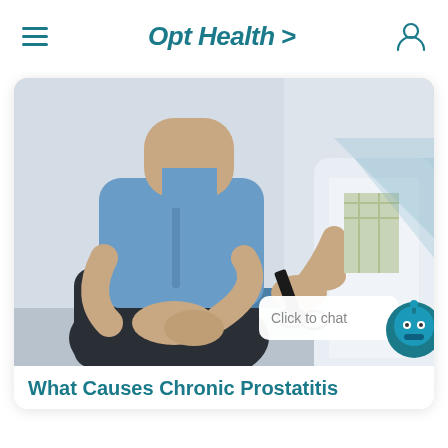Opt Health >
[Figure (photo): A man in a blue shirt sitting with hands clasped, next to a doctor in a white coat holding glasses and gesturing, in a medical consultation setting.]
What Causes Chronic Prostatitis